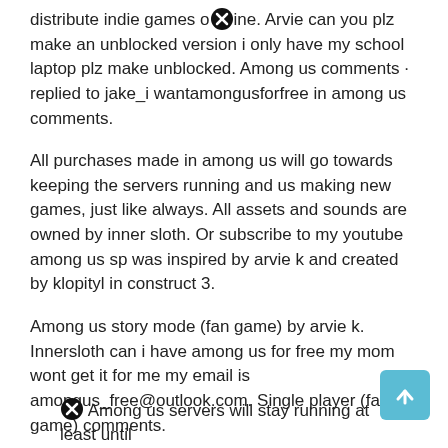distribute indie games online. Arvie can you plz make an unblocked version i only have my school laptop plz make unblocked. Among us comments · replied to jake_i wantamongusforfree in among us comments.
All purchases made in among us will go towards keeping the servers running and us making new games, just like always. All assets and sounds are owned by inner sloth. Or subscribe to my youtube among us sp was inspired by arvie k and created by klopityl in construct 3.
Among us story mode (fan game) by arvie k. Innersloth can i have among us for free my mom wont get it for me my email is amongus_free@outlook.com. Single player (fan game) comments.
Among us servers will stay running at least until